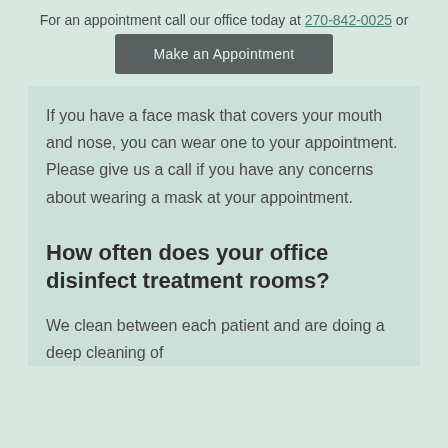For an appointment call our office today at 270-842-0025 or
Make an Appointment
If you have a face mask that covers your mouth and nose, you can wear one to your appointment. Please give us a call if you have any concerns about wearing a mask at your appointment.
How often does your office disinfect treatment rooms?
We clean between each patient and are doing a deep cleaning of